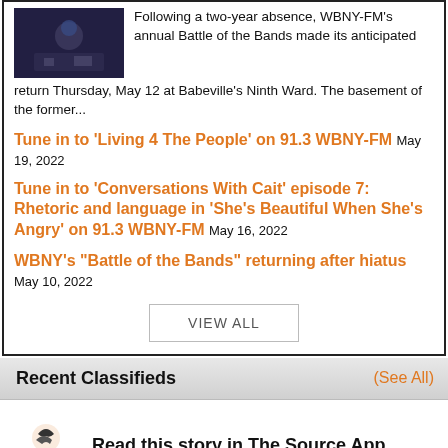Following a two-year absence, WBNY-FM’s annual Battle of the Bands made its anticipated return Thursday, May 12 at Babeville’s Ninth Ward. The basement of the former...
Tune in to ‘Living 4 The People’ on 91.3 WBNY-FM  May 19, 2022
Tune in to ‘Conversations With Cait’ episode 7: Rhetoric and language in ‘She’s Beautiful When She’s Angry’ on 91.3 WBNY-FM  May 16, 2022
WBNY’s “Battle of the Bands” returning after hiatus  May 10, 2022
VIEW ALL
Recent Classifieds  (See All)
Read this story in The Source App...
Open App  Continue in browser